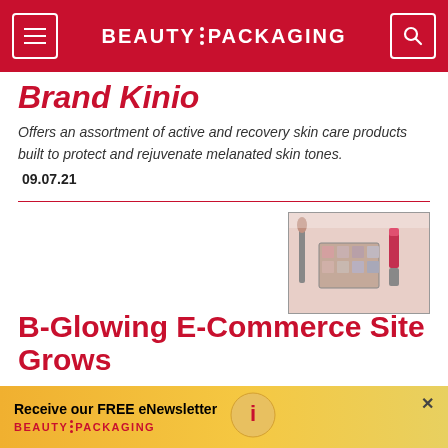BEAUTY PACKAGING
Brand Kinio
Offers an assortment of active and recovery skin care products built to protect and rejuvenate melanated skin tones.
09.07.21
[Figure (photo): Makeup products including eyeshadow palette, lipstick, and brushes on a white background]
B-Glowing E-Commerce Site Grows
Receive our FREE eNewsletter BEAUTY PACKAGING